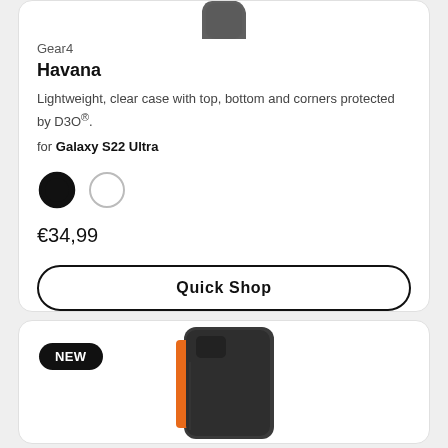[Figure (photo): Partial view of a clear phone case (Gear4 Havana) shown at top of product card]
Gear4
Havana
Lightweight, clear case with top, bottom and corners protected by D3O®.
for Galaxy S22 Ultra
[Figure (other): Two color swatches: black (selected, with border) and white]
€34,99
Quick Shop
[Figure (photo): Product image of a new Gear4 phone case in dark grey/black with orange interior lining, showing front and back, with NEW badge]